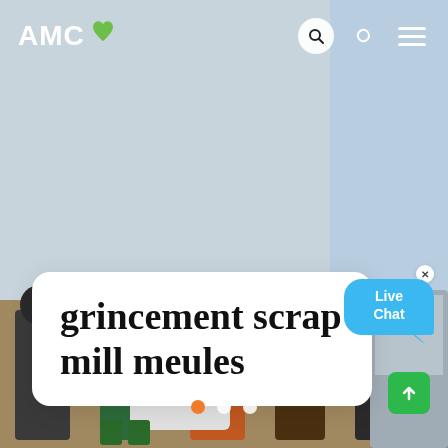[Figure (photo): Website screenshot showing AMC logo top left, search/moon/menu icons top right, background photo of workers/people standing outdoors with machinery, white card overlay with title, live chat bubble, carousel dots, and scroll-up button.]
AMC
grincement scrap mill meules